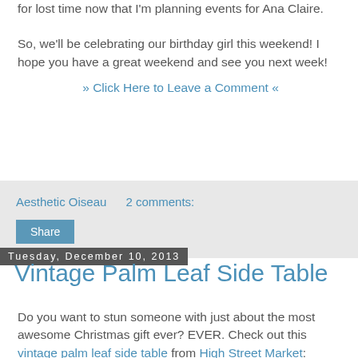for lost time now that I'm planning events for Ana Claire.
So, we'll be celebrating our birthday girl this weekend! I hope you have a great weekend and see you next week!
» Click Here to Leave a Comment «
Aesthetic Oiseau   2 comments:
Share
Tuesday, December 10, 2013
Vintage Palm Leaf Side Table
Do you want to stun someone with just about the most awesome Christmas gift ever? EVER. Check out this vintage palm leaf side table from High Street Market: